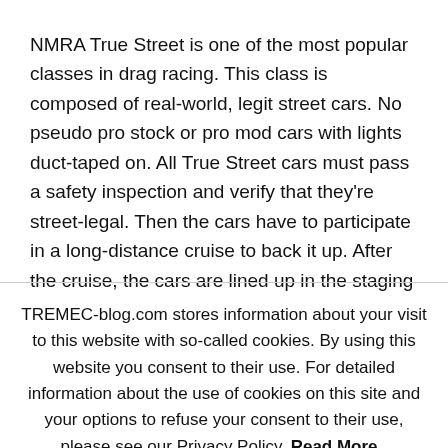NMRA True Street is one of the most popular classes in drag racing. This class is composed of real-world, legit street cars. No pseudo pro stock or pro mod cars with lights duct-taped on. All True Street cars must pass a safety inspection and verify that they're street-legal. Then the cars have to participate in a long-distance cruise to back it up. After the cruise, the cars are lined up in the staging lanes and hoods must be kept closed before their first run down the
TREMEC-blog.com stores information about your visit to this website with so-called cookies. By using this website you consent to their use. For detailed information about the use of cookies on this site and your options to refuse your consent to their use, please see our Privacy Policy. Read More Accept